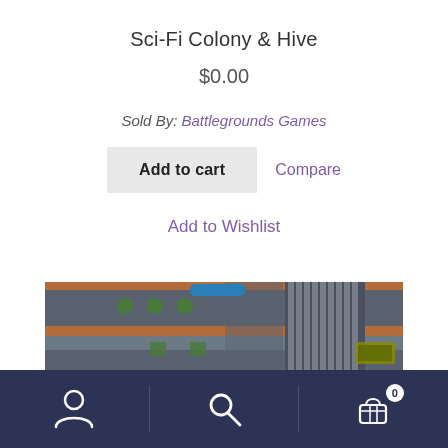Sci-Fi Colony & Hive
$0.00
Sold By: Battlegrounds Games
Add to cart   Compare
Add to Wishlist
[Figure (screenshot): Top-down tile-based game screenshot showing roads, intersections, sidewalks, and buildings in a city layout with crosswalks and green trees.]
[Figure (other): Bottom navigation bar with user/account icon, search icon, and shopping cart icon with badge showing 0]